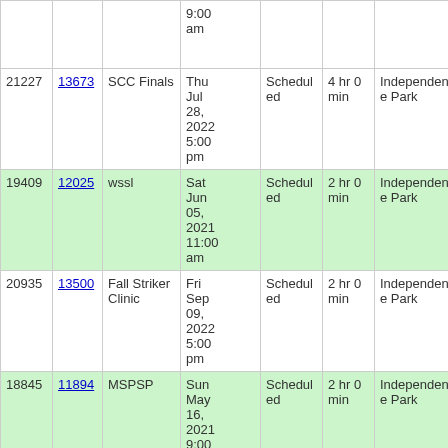|  |  |  | 9:00 am |  |  |  |  |
| 21227 | 13673 | SCC Finals | Thu Jul 28, 2022 5:00 pm | Scheduled | 4 hr 0 min | Independence Park | 05 |
| 19409 | 12025 | wssl | Sat Jun 05, 2021 11:00 am | Scheduled | 2 hr 0 min | Independence Park | 04 |
| 20935 | 13500 | Fall Striker Clinic | Fri Sep 09, 2022 5:00 pm | Scheduled | 2 hr 0 min | Independence Park | 10 |
| 18845 | 11894 | MSPSP | Sun May 16, 2021 9:00 am | Scheduled | 2 hr 0 min | Independence Park | 11B |
| 20068 | 12578 | WSSL | Tue Nov 02, | Scheduled | 1 hr 15 | Independence | 24 |